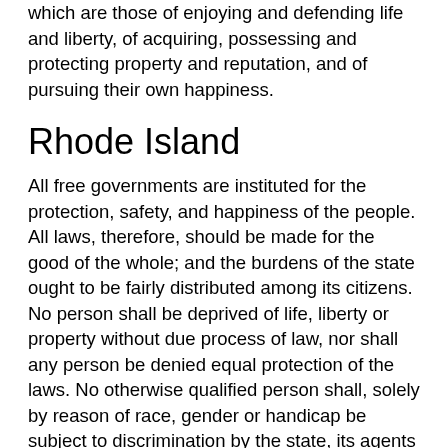which are those of enjoying and defending life and liberty, of acquiring, possessing and protecting property and reputation, and of pursuing their own happiness.
Rhode Island
All free governments are instituted for the protection, safety, and happiness of the people. All laws, therefore, should be made for the good of the whole; and the burdens of the state ought to be fairly distributed among its citizens. No person shall be deprived of life, liberty or property without due process of law, nor shall any person be denied equal protection of the laws. No otherwise qualified person shall, solely by reason of race, gender or handicap be subject to discrimination by the state, its agents or any person or entity doing business with the state. Nothing in this section shall be construed to grant or secure any right relating to abortion or the funding thereof.